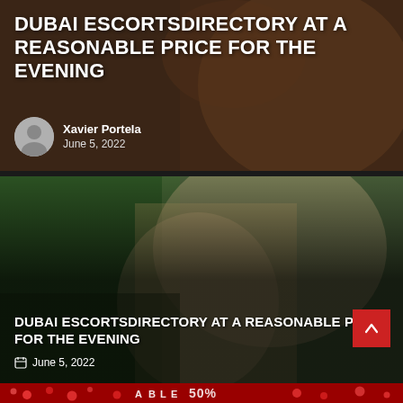[Figure (photo): Background photo of a person for the first article card]
DUBAI ESCORTSDIRECTORY AT A REASONABLE PRICE FOR THE EVENING
Xavier Portela
June 5, 2022
[Figure (photo): Background photo of a person outdoors for the second article card]
DUBAI ESCORTSDIRECTORY AT A REASONABLE PRICE FOR THE EVENING
June 5, 2022
[Figure (other): Red scroll-to-top button with upward arrow]
[Figure (other): Bottom red banner with decorative hearts and partial text]